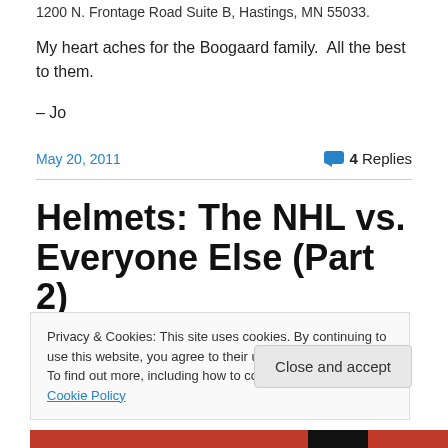1200 N. Frontage Road Suite B, Hastings, MN 55033.
My heart aches for the Boogaard family.  All the best to them.
– Jo
May 20, 2011
4 Replies
Helmets: The NHL vs. Everyone Else (Part 2)
Privacy & Cookies: This site uses cookies. By continuing to use this website, you agree to their use.
To find out more, including how to control cookies, see here: Cookie Policy
Close and accept